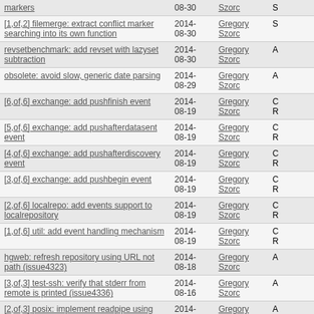| Title | Date | Author | Status |
| --- | --- | --- | --- |
| markers | 08-30 | Szorc | S |
| [1,of,2] filemerge: extract conflict marker searching into its own function | 2014-08-30 | Gregory Szorc | S |
| revsetbenchmark: add revset with lazyset subtraction | 2014-08-30 | Gregory Szorc | A |
| obsolete: avoid slow, generic date parsing | 2014-08-29 | Gregory Szorc | A |
| [6,of,6] exchange: add pushfinish event | 2014-08-19 | Gregory Szorc | C R |
| [5,of,6] exchange: add pushafterdatasent event | 2014-08-19 | Gregory Szorc | C R |
| [4,of,6] exchange: add pushafterdiscovery event | 2014-08-19 | Gregory Szorc | C R |
| [3,of,6] exchange: add pushbegin event | 2014-08-19 | Gregory Szorc | C R |
| [2,of,6] localrepo: add events support to localrepository | 2014-08-19 | Gregory Szorc | C R |
| [1,of,6] util: add event handling mechanism | 2014-08-19 | Gregory Szorc | C R |
| hgweb: refresh repository using URL not path (issue4323) | 2014-08-18 | Gregory Szorc | A |
| [3,of,3] test-ssh: verify that stderr from remote is printed (issue4336) | 2014-08-16 | Gregory Szorc | A |
| [2,of,3] posix: implement readpipe using non-blocking I/O (issue4336) | 2014-08-16 | Gregory Szorc | A |
| [1,of,3] platform: implement readpipe() | 2014-08-16 | Gregory Szorc | A |